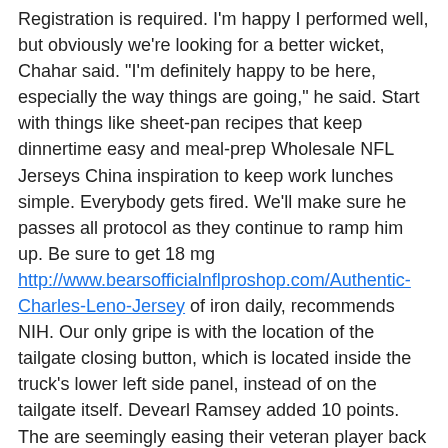Registration is required. I'm happy I performed well, but obviously we're looking for a better wicket, Chahar said. "I'm definitely happy to be here, especially the way things are going," he said. Start with things like sheet-pan recipes that keep dinnertime easy and meal-prep Wholesale NFL Jerseys China inspiration to keep work lunches simple. Everybody gets fired. We'll make sure he passes all protocol as they continue to ramp him up. Be sure to get 18 mg http://www.bearsofficialnflproshop.com/Authentic-Charles-Leno-Jersey of iron daily, recommends NIH. Our only gripe is with the location of the tailgate closing button, which is located inside the truck's lower left side panel, instead of on the tailgate itself. Devearl Ramsey added 10 points. The are seemingly easing their veteran player back into form after the 33-year-old was cleared for action following September knee Wholesale Jerseys Cheap surgery. If you want chicken at KFC but want to keep it healthy, go with their Kentucky Grilled Chicken. Shannon Brown Opts For Free Agency Jun 30 7 PM Shannon Brown informed the team Thursday that he was exercising his option to Cheap NFL Jerseys From China terminate the final year of his contract to become an unrestricted free agent.